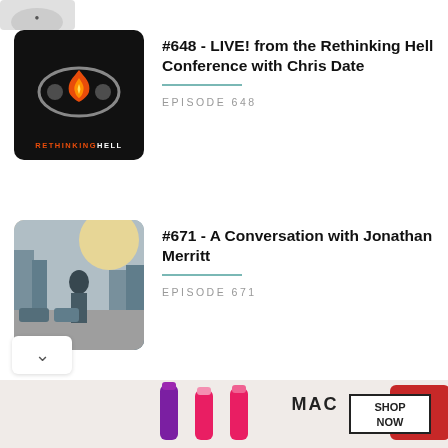[Figure (logo): Partial logo at top left corner]
[Figure (logo): Rethinking Hell podcast logo - black background with flame and eye graphic, text RETHINKINGHELL]
#648 - LIVE! from the Rethinking Hell Conference with Chris Date
EPISODE 648
[Figure (photo): Photo of a man standing on a city street in winter, backlit by sunlight]
#671 - A Conversation with Jonathan Merritt
EPISODE 671
[Figure (photo): Partial photo of lipsticks - advertisement for MAC cosmetics]
#672 - June Questions and Answers
[Figure (screenshot): MAC cosmetics ad banner with lipsticks and SHOP NOW button]